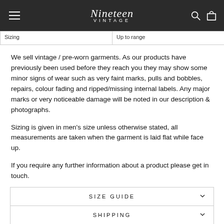Nineteen VINTAGE
| Sizing | Up to range |
We sell vintage / pre-worn garments. As our products have previously been used before they reach you they may show some minor signs of wear such as very faint marks, pulls and bobbles, repairs, colour fading and ripped/missing internal labels. Any major marks or very noticeable damage will be noted in our description & photographs.
Sizing is given in men's size unless otherwise stated, all measurements are taken when the garment is laid flat while face up.
If you require any further information about a product please get in touch.
SIZE GUIDE
SHIPPING